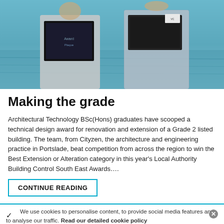[Figure (photo): Two people holding award plaques/frames in front of a body of water. One holds a dark framed display, the other holds a box with a logo.]
Making the grade
Architectural Technology BSc(Hons) graduates have scooped a technical design award for renovation and extension of a Grade 2 listed building. The team, from Cityzen, the architecture and engineering practice in Portslade, beat competition from across the region to win the Best Extension or Alteration category in this year's Local Authority Building Control South East Awards….
CONTINUE READING
We use cookies to personalise content, to provide social media features and to analyse our traffic. Read our detailed cookie policy